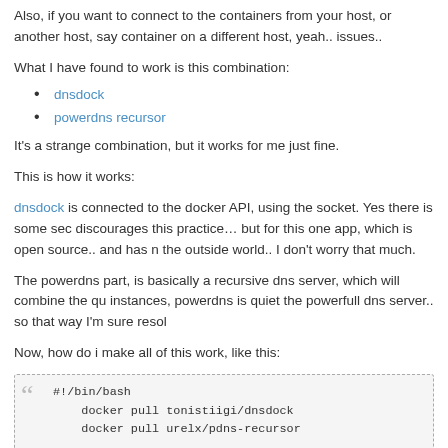Also, if you want to connect to the containers from your host, or another host, say container on a different host, yeah.. issues..
What I have found to work is this combination:
dnsdock
powerdns recursor
It's a strange combination, but it works for me just fine.
This is how it works:
dnsdock is connected to the docker API, using the socket. Yes there is some sec discourages this practice… but for this one app, which is open source.. and has n the outside world.. I don't worry that much.
The powerdns part, is basically a recursive dns server, which will combine the qu instances, powerdns is quiet the powerfull dns server.. so that way I'm sure resol
Now, how do i make all of this work, like this:
[Figure (screenshot): Code block with bash script showing docker commands: #!/bin/bash, docker pull tonistiigi/dnsdock, docker pull urelx/pdns-recursor, docker run -d -v /var/run/docker.sock:/var/run/docker.s, docker run -d --name powerdns \, -p 172.17.42.1:53:53 -p 172.17.42.1:53:53/udp \, urelx/pdns-recursor --forward-zones="servicename.docker...]